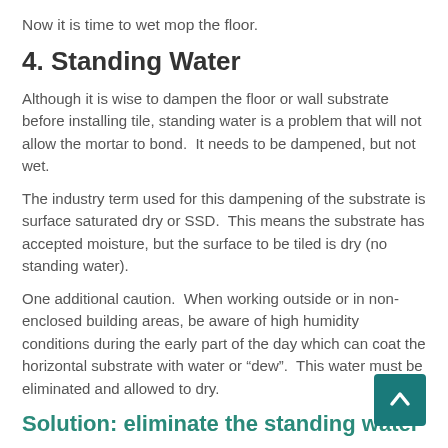Now it is time to wet mop the floor.
4. Standing Water
Although it is wise to dampen the floor or wall substrate before installing tile, standing water is a problem that will not allow the mortar to bond.  It needs to be dampened, but not wet.
The industry term used for this dampening of the substrate is surface saturated dry or SSD.  This means the substrate has accepted moisture, but the surface to be tiled is dry (no standing water).
One additional caution.  When working outside or in non-enclosed building areas, be aware of high humidity conditions during the early part of the day which can coat the horizontal substrate with water or “dew”.  This water must be eliminated and allowed to dry.
Solution: eliminate the standing water